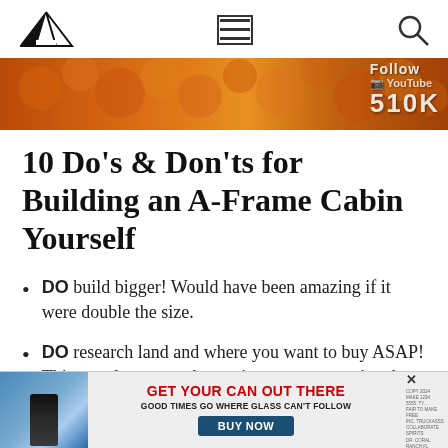[Logo] [Menu] [Search]
[Figure (photo): Autumn foliage banner image with orange and red leaves, overlaid with text: 'Follow YouTube 510K']
10 Do's & Don'ts for Building an A-Frame Cabin Yourself
DO build bigger! Would have been amazing if it were double the size.
DO research land and where you want to buy ASAP! Things only seem to be getting more expensive the longer you wait.
[Figure (photo): Advertisement: GET YOUR CAN OUT THERE. GOOD TIMES GO WHERE GLASS CAN'T FOLLOW. BUY NOW button. Shows canned beverages by a lake.]